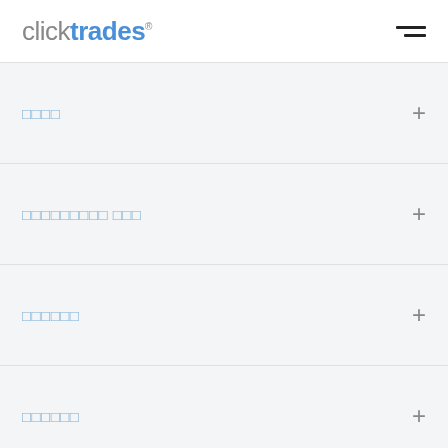clicktrades
□□□□
□□□□□□□□□ □□□
□□□□□□
□□□□□□